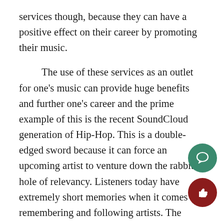services though, because they can have a positive effect on their career by promoting their music.

The use of these services as an outlet for one's music can provide huge benefits and further one's career and the prime example of this is the recent SoundCloud generation of Hip-Hop. This is a double-edged sword because it can force an upcoming artist to venture down the rabbit hole of relevancy. Listeners today have extremely short memories when it comes to remembering and following artists. The number of one hit wonders occurring in the streaming age is increasing dramatically with people listening and moving on almost immediately for a similar sound. This forces artists to constantly put out singles with almost no time to perfect them in order to stay relevant. The whole process does not encourage creativity and experimentation, but rather conformity to trends. Without the listener's consent to accept an experimental project, we may never get anoth